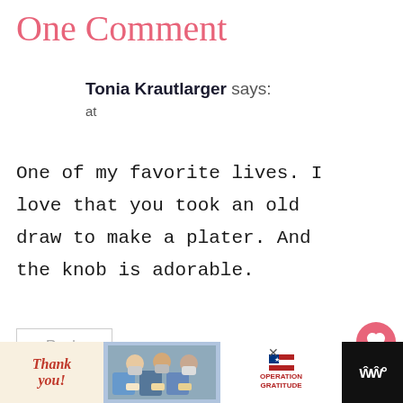One Comment
Tonia Krautlarger says:
at
One of my favorite lives. I love that you took an old draw to make a plater. And the knob is adorable.
Reply
[Figure (screenshot): Social sharing buttons: pink heart icon, count showing 1, dark share button with arrows]
[Figure (photo): Advertisement banner at bottom: 'Thank you!' text with American flag motif, photo of medical workers in masks holding cards, Operation Gratitude logo with flag, and brand logo on dark background]